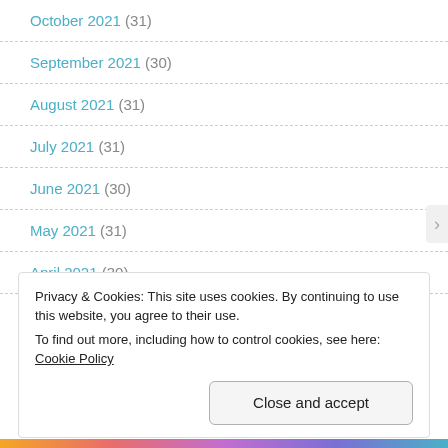October 2021 (31)
September 2021 (30)
August 2021 (31)
July 2021 (31)
June 2021 (30)
May 2021 (31)
April 2021 (30)
Privacy & Cookies: This site uses cookies. By continuing to use this website, you agree to their use.
To find out more, including how to control cookies, see here: Cookie Policy
Close and accept